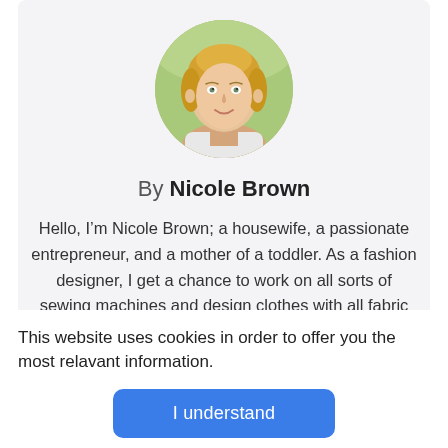[Figure (photo): Circular portrait photo of a young blonde woman smiling, with outdoor background]
By Nicole Brown
Hello, I’m Nicole Brown; a housewife, a passionate entrepreneur, and a mother of a toddler. As a fashion designer, I get a chance to work on all sorts of sewing machines and design clothes with all fabric types. Through this website, I am trying my best to share every bit of the knowledge I have gained
This website uses cookies in order to offer you the most relavant information.
I understand